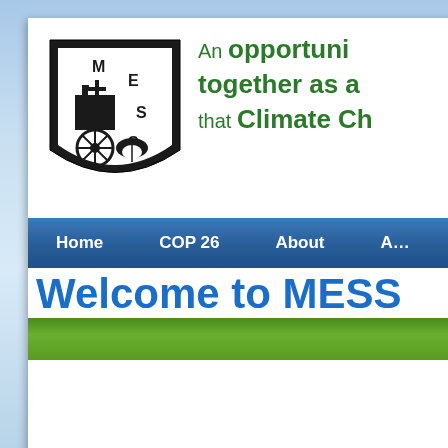[Figure (logo): MESS organization logo — black and white emblem showing letters M, E, S, S arranged in a shield/crest shape with a wheel and plant imagery]
An opportuni… together as a… that Climate Ch…
Home   COP 26   About   A…
Welcome to MESS